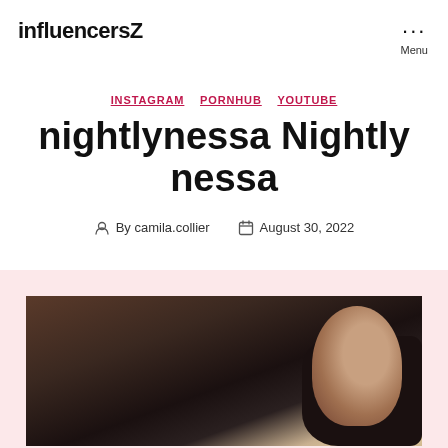influencersZ
INSTAGRAM  PORNHUB  YOUTUBE
nightlynessa Nightly nessa
By camila.collier  August 30, 2022
[Figure (photo): A dark-toned photo of a person lying down, dark hair visible, face partially visible in profile, warm-toned skin against dark background, positioned in lower portion of page on a pink/light background section.]